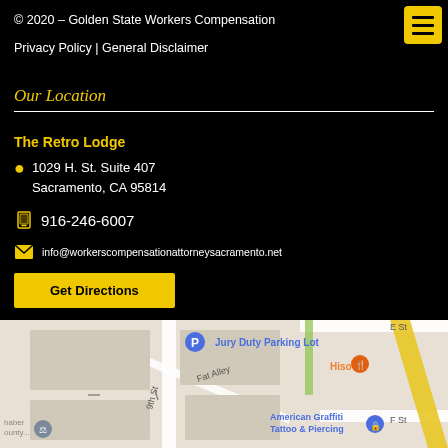© 2020 – Golden State Workers Compensation
Privacy Policy | General Disclaimer
Our Location
The Retro Lodge
1029 H. St. Suite 407
Sacramento, CA 95814
916-246-6007
info@workerscompensationattorneysacramento.net
Get Directions
[Figure (map): Google Maps showing area near 1029 H. St. Suite 407, Sacramento, CA 95814. Visible landmarks: Jury Duty Parking Lot, Fat Alley, 9th St, American Graffiti Tattoo & Piercing, Hiso restaurant, E St, F St, Schaber County building.]